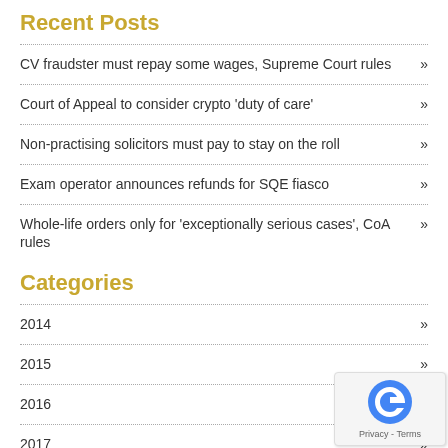Recent Posts
CV fraudster must repay some wages, Supreme Court rules »
Court of Appeal to consider crypto 'duty of care' »
Non-practising solicitors must pay to stay on the roll »
Exam operator announces refunds for SQE fiasco »
Whole-life orders only for 'exceptionally serious cases', CoA rules »
Categories
2014 »
2015 »
2016 »
2017 »
2019 »
2020 »